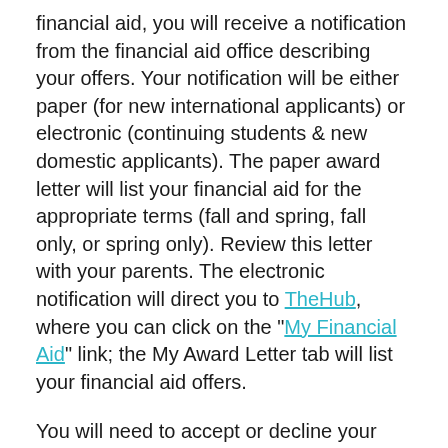financial aid, you will receive a notification from the financial aid office describing your offers. Your notification will be either paper (for new international applicants) or electronic (continuing students & new domestic applicants). The paper award letter will list your financial aid for the appropriate terms (fall and spring, fall only, or spring only). Review this letter with your parents. The electronic notification will direct you to TheHub, where you can click on the "My Financial Aid" link; the My Award Letter tab will list your financial aid offers.
You will need to accept or decline your financial aid awards. By accepting your awards you are authorizing us to post your awards to your College bill, and, if applicable, to originate your federal aid. Log onto your "My Financial Aid" account to accept your individual offers.
If you are an international student, you and your